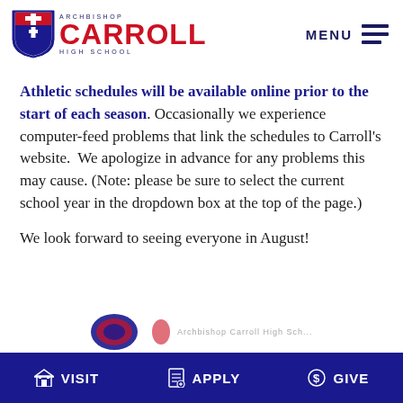Archbishop Carroll High School — MENU
Athletic schedules will be available online prior to the start of each season. Occasionally we experience computer-feed problems that link the schedules to Carroll's website.  We apologize in advance for any problems this may cause. (Note: please be sure to select the current school year in the dropdown box at the top of the page.)
We look forward to seeing everyone in August!
VISIT   APPLY   GIVE